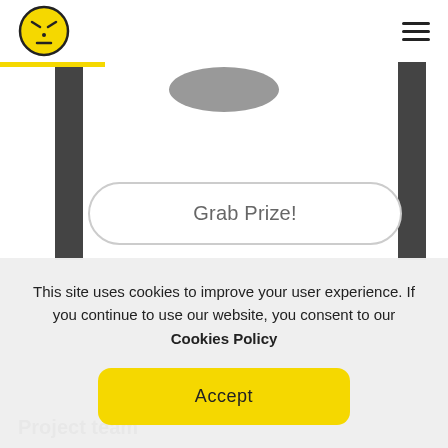[Logo icon] [Hamburger menu]
[Figure (screenshot): Partial screenshot of a web page showing a slot machine game with dark vertical bars on left and right, a grey oval shape at top center, and a 'Grab Prize!' button with rounded rectangle border.]
This site uses cookies to improve your user experience. If you continue to use our website, you consent to our Cookies Policy
Accept
Project team